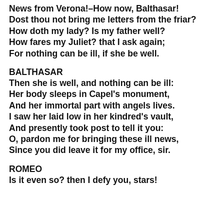News from Verona!–How now, Balthasar!
Dost thou not bring me letters from the friar?
How doth my lady? Is my father well?
How fares my Juliet? that I ask again;
For nothing can be ill, if she be well.
BALTHASAR
Then she is well, and nothing can be ill:
Her body sleeps in Capel's monument,
And her immortal part with angels lives.
I saw her laid low in her kindred's vault,
And presently took post to tell it you:
O, pardon me for bringing these ill news,
Since you did leave it for my office, sir.
ROMEO
Is it even so? then I defy you, stars!